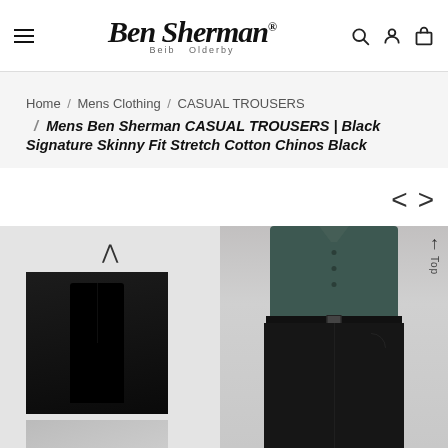Ben Sherman — navigation header with hamburger menu, logo, search, account, and bag icons
Home / Mens Clothing / CASUAL TROUSERS / Mens Ben Sherman CASUAL TROUSERS | Black Signature Skinny Fit Stretch Cotton Chinos Black
[Figure (photo): Product photo of black skinny fit stretch cotton chinos worn by a male model, shown from waist down with a dark teal shirt tucked in. Thumbnail images on the left show alternate views.]